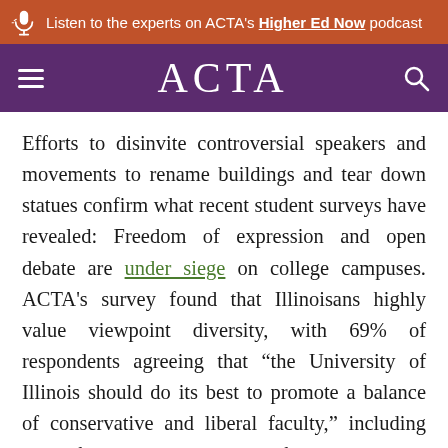Listen to the experts on ACTA's Higher Ed Now podcast
ACTA
Efforts to disinvite controversial speakers and movements to rename buildings and tear down statues confirm what recent student surveys have revealed: Freedom of expression and open debate are under siege on college campuses. ACTA's survey found that Illinoisans highly value viewpoint diversity, with 69% of respondents agreeing that “the University of Illinois should do its best to promote a balance of conservative and liberal faculty,” including 79% of Republicans and 64% of Democrats.